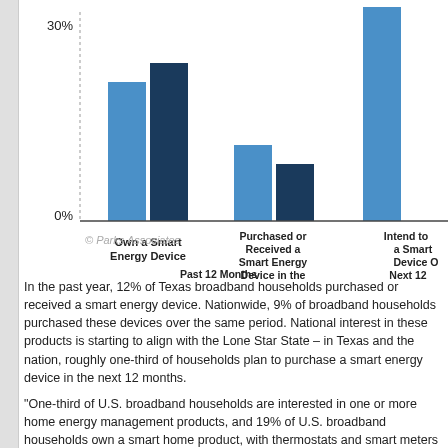[Figure (grouped-bar-chart): Smart Energy Device Ownership and Intent]
© Parks Associates
In the past year, 12% of Texas broadband households purchased or received a smart energy device. Nationwide, 9% of broadband households purchased these devices over the same period. National interest in these products is starting to align with the Lone Star State – in Texas and the nation, roughly one-third of households plan to purchase a smart energy device in the next 12 months.
"One-third of U.S. broadband households are interested in one or more home energy management products, and 19% of U.S. broadband households own a smart home product, with thermostats and smart meters leading the way," Sikes said. "Much of the current growth nationwide comes as a result of smart meter deployments in Texas, and in 2016, we will see new businesses and partnerships develop between utilities and smart home solution providers as the convergence of energy management, the smart home, and distributed generation begins to offer real value to consumers."
William Clayton, Vice President of Customer Care Operations at Texas-based Oncor, delivered the keynote "Making Energy Easy and Engaging for Customers" at the Smart Energy Summit.